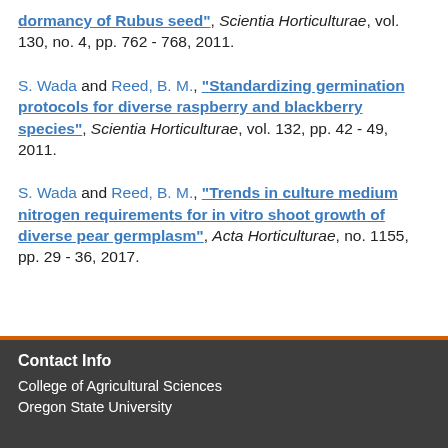dormancy of Rubus seed", Scientia Horticulturae, vol. 130, no. 4, pp. 762 - 768, 2011.
S. Wada and Reed, B. M., "Standardizing germination protocols for diverse raspberry and blackberry species", Scientia Horticulturae, vol. 132, pp. 42 - 49, 2011.
S. Wada and Reed, B. M., "Trends in culture medium nitrogen requirements for in vitro shoot growth of diverse pear germplasm", Acta Horticulturae, no. 1155, pp. 29 - 36, 2017.
Contact Info
College of Agricultural Sciences
Oregon State University